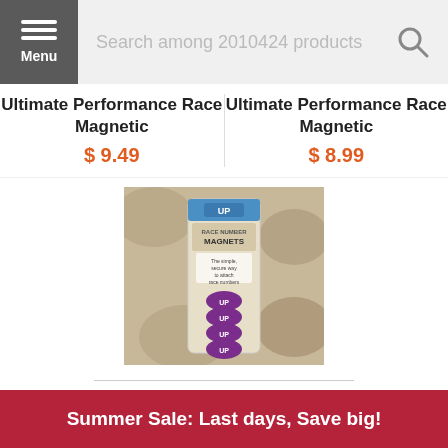Menu | Search among 2010424 products
Ultimate Performance Race Magnetic
$ 9.49
Ultimate Performance Race Magnetic
$ 8.99
[Figure (photo): Product photo of Ultimate Performance Race Number Magnets in packaging, showing four purple oval magnets with UP logo]
Ultimate Performance Race Magnetic
$ 9.99
Summer Sale: Last days, Save big!